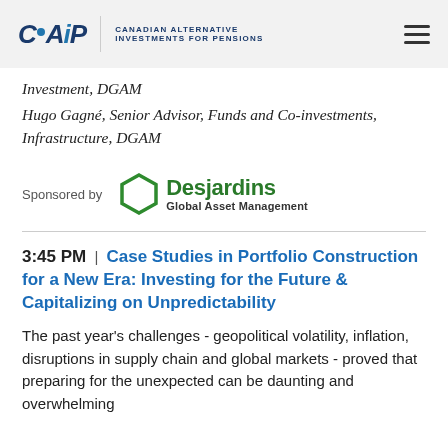CAIP — CANADIAN ALTERNATIVE INVESTMENTS FOR PENSIONS
Investment, DGAM
Hugo Gagné, Senior Advisor, Funds and Co-investments, Infrastructure, DGAM
[Figure (logo): Desjardins Global Asset Management logo with hexagon icon. Text reads 'Desjardins Global Asset Management'. Preceded by 'Sponsored by' label.]
3:45 PM | Case Studies in Portfolio Construction for a New Era: Investing for the Future & Capitalizing on Unpredictability
The past year's challenges - geopolitical volatility, inflation, disruptions in supply chain and global markets - proved that preparing for the unexpected can be daunting and overwhelming